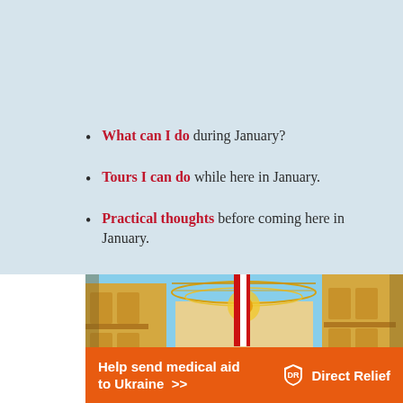What can I do during January?
Tours I can do while here in January.
Practical thoughts before coming here in January.
[Figure (photo): Street scene of a Mediterranean city (likely Malta/Valletta) with decorative overhead lights and a red-and-white striped flag, flanked by historic yellow limestone buildings with traditional balconies.]
[Figure (infographic): Orange advertisement banner reading 'Help send medical aid to Ukraine >>' with Direct Relief logo and name on the right.]